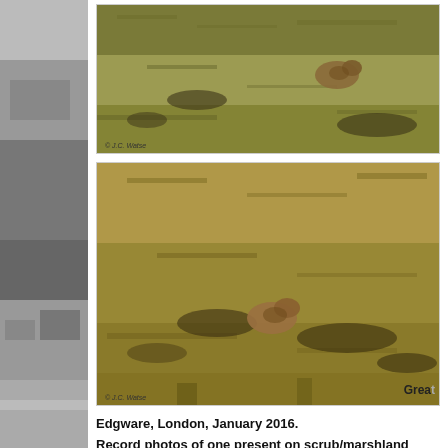[Figure (photo): Bird camouflaged in dry grassy field, top photo, copyright J.C. Watse]
[Figure (photo): Bird camouflaged in dry grassy field, bottom photo, copyright J.C. Watse]
Great ... Edgware, London, January 2016.
Record photos of one present on scrub/marshland outside